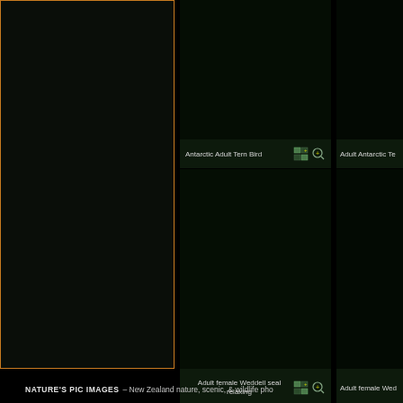[Figure (screenshot): Dark nature photo gallery interface showing a large left panel with orange border, and two image thumbnails on the right with labels: 'Antarctic Adult Tern Bird' and 'Adult female Weddell seal relaxing', with grid/zoom icons, on a dark green-black background]
Antarctic Adult Tern Bird
Adult Antarctic Te
Adult female Weddell seal relaxing
Adult female Wed
NATURE'S PIC IMAGES – New Zealand nature, scenic, & wildlife pho